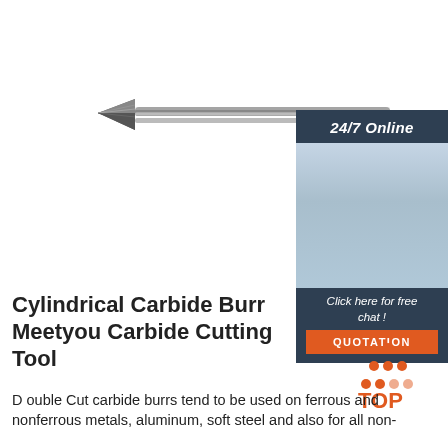[Figure (photo): A carbide burr cutting tool — a pointed diamond-shaped head on a long thin cylindrical shank, shown in silver/gray metallic finish against white background.]
[Figure (illustration): 24/7 Online chat service widget showing a smiling woman with a headset. Dark blue-gray header with '24/7 Online', photo of customer service representative, 'Click here for free chat!' text, and an orange 'QUOTATION' button.]
Cylindrical Carbide Burr Meetyou Carbide Cutting Tool
[Figure (logo): TOP logo with orange dots forming a triangle/mountain shape above the text 'TOP' in orange.]
D ouble Cut carbide burrs tend to be used on ferrous and nonferrous metals, aluminum, soft steel and also for all non-